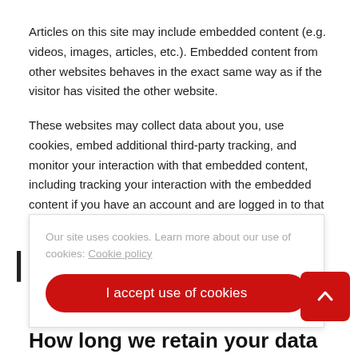Articles on this site may include embedded content (e.g. videos, images, articles, etc.). Embedded content from other websites behaves in the exact same way as if the visitor has visited the other website.
These websites may collect data about you, use cookies, embed additional third-party tracking, and monitor your interaction with that embedded content, including tracking your interaction with the embedded content if you have an account and are logged in to that website.
Our site uses cookies. Learn more about our use of cookies: Cookie policy
I accept use of cookies
How long we retain your data